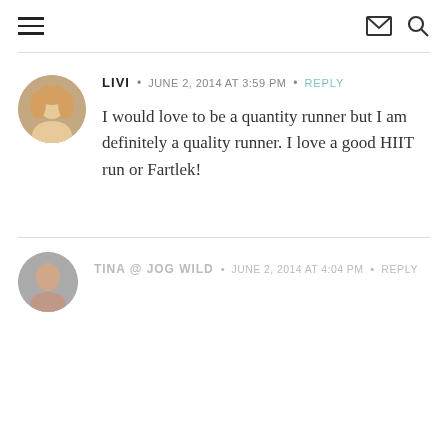Navigation header with hamburger menu, email icon, and search icon
LIVI · JUNE 2, 2014 AT 3:59 PM · REPLY
I would love to be a quantity runner but I am definitely a quality runner. I love a good HIIT run or Fartlek!
TINA @ JOG WILD · JUNE 2, 2014 AT 4:04 PM · REPLY